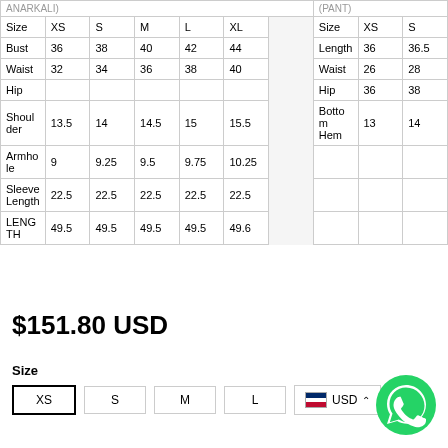| Size | XS | S | M | L | XL |  | Size | XS | S |
| --- | --- | --- | --- | --- | --- | --- | --- | --- | --- |
| Bust | 36 | 38 | 40 | 42 | 44 |  | Length | 36 | 36.5 |
| Waist | 32 | 34 | 36 | 38 | 40 |  | Waist | 26 | 28 |
| Hip |  |  |  |  |  |  | Hip | 36 | 38 |
| Shoulder | 13.5 | 14 | 14.5 | 15 | 15.5 |  | Bottom Hem | 13 | 14 |
| Armhole | 9 | 9.25 | 9.5 | 9.75 | 10.25 |  |  |  |  |
| Sleeve Length | 22.5 | 22.5 | 22.5 | 22.5 | 22.5 |  |  |  |  |
| LENGTH | 49.5 | 49.5 | 49.5 | 49.5 | 49.6 |  |  |  |  |
$151.80 USD
Size
XS  S  M  L  USD
[Figure (logo): WhatsApp green phone icon bubble]